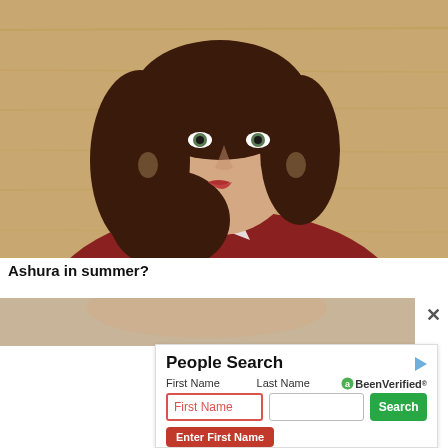[Figure (photo): Portrait photo of a woman with long dark hair, wearing a dark red top, smiling, against a wooden background]
Ashura in summer?
[Figure (photo): Partially visible blurred second photo below caption]
[Figure (screenshot): People Search advertisement widget with First Name and Last Name input fields, Search button, BeenVerified logo, and an Enter First Name error prompt]